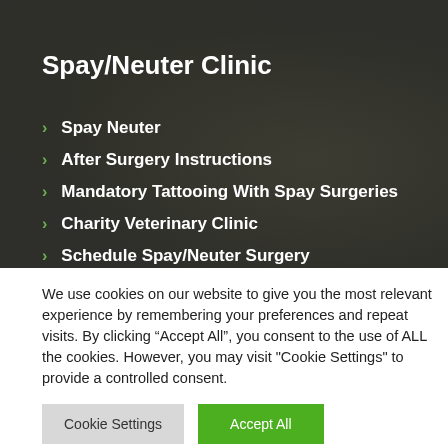Spay/Neuter Clinic
Spay Neuter
After Surgery Instructions
Mandatory Tattooing With Spay Surgeries
Charity Veterinary Clinic
Schedule Spay/Neuter Surgery
We use cookies on our website to give you the most relevant experience by remembering your preferences and repeat visits. By clicking “Accept All”, you consent to the use of ALL the cookies. However, you may visit "Cookie Settings" to provide a controlled consent.